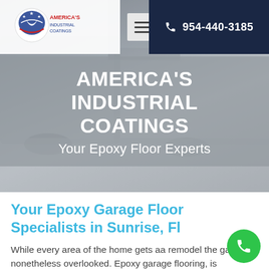[Figure (screenshot): Hero background showing a car in a garage/automotive setting, muted gray tones]
[Figure (logo): America's Industrial Coatings logo with eagle/star emblem in blue and red]
954-440-3185
AMERICA'S INDUSTRIAL COATINGS
Your Epoxy Floor Experts
Your Epoxy Garage Floor Specialists in Sunrise, Fl
While every area of the home gets aa remodel the garage is nonetheless overlooked. Epoxy garage flooring, is nevertheless a reliable strategy to grease...